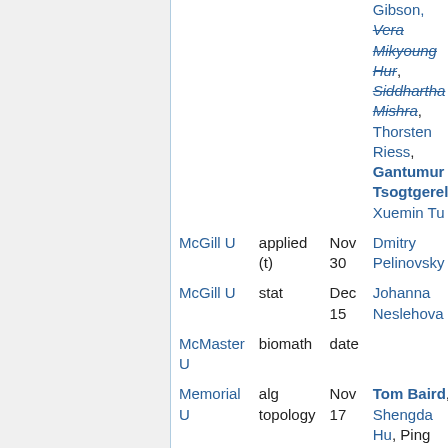| Institution | Field | Deadline | Contacts |
| --- | --- | --- | --- |
|  |  |  | Gibson, Vera Mikyoung Hur, Siddhartha Mishra, Thorsten Riess, Gantumur Tsogtgerel, Xuemin Tu |
| McGill U | applied (t) | Nov 30 | Dmitry Pelinovsky |
| McGill U | stat | Dec 15 | Johanna Neslehova |
| McMaster U | biomath | date |  |
| Memorial U | alg topology | Nov 17 | Tom Baird, Shengda Hu, Ping Zhang |
| Memorial U | analysis | Jan 16 |  |